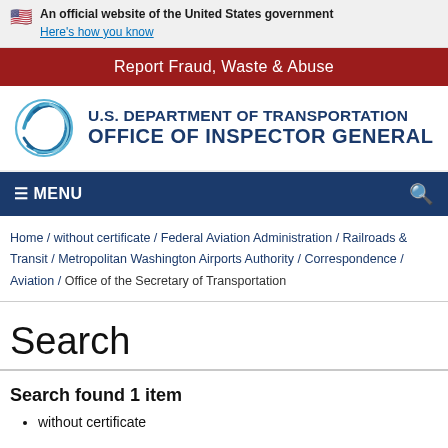An official website of the United States government
Here's how you know
Report Fraud, Waste & Abuse
[Figure (logo): U.S. Department of Transportation Office of Inspector General logo with blue swirl emblem]
≡ MENU
Home / without certificate / Federal Aviation Administration / Railroads & Transit / Metropolitan Washington Airports Authority / Correspondence / Aviation / Office of the Secretary of Transportation
Search
Search found 1 item
without certificate